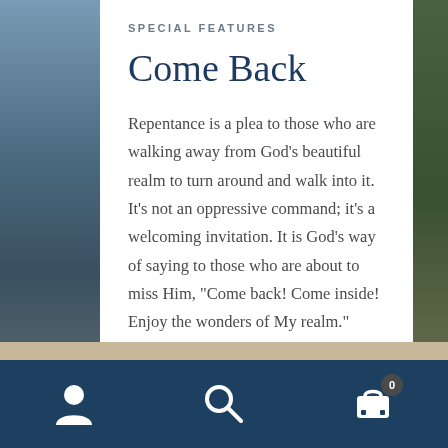[Figure (photo): Left side image strip showing a dark blue-grey water/lake scene]
[Figure (photo): Right side image strip showing a dark green forest/trees scene]
SPECIAL FEATURES
Come Back
Repentance is a plea to those who are walking away from God’s beautiful realm to turn around and walk into it. It’s not an oppressive command; it’s a welcoming invitation. It is God’s way of saying to those who are about to miss Him, “Come back! Come inside! Enjoy the wonders of My realm.”
READ MORE
Navigation bar with person, search, and cart (0) icons